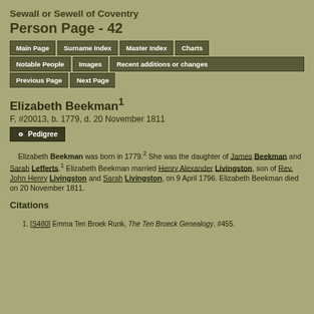Sewall or Sewell of Coventry
Person Page - 42
Main Page | Surname Index | Master Index | Charts | Notable People | Images | Recent additions or changes | Previous Page | Next Page
Elizabeth Beekman¹
F, #20013, b. 1779, d. 20 November 1811
Pedigree
Elizabeth Beekman was born in 1779.² She was the daughter of James Beekman and Sarah Lefferts.¹ Elizabeth Beekman married Henry Alexander Livingston, son of Rev. John Henry Livingston and Sarah Livingston, on 9 April 1796. Elizabeth Beekman died on 20 November 1811.
Citations
1. [S480] Emma Ten Broek Runk, The Ten Broeck Genealogy, #455.